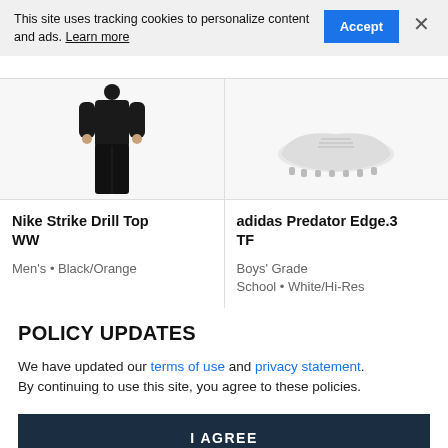This site uses tracking cookies to personalize content and ads. Learn more
[Figure (screenshot): Cookie banner with Accept button and close X]
[Figure (photo): Nike Strike Drill Top WW product image - person wearing black outfit]
Nike Strike Drill Top WW
Men's • Black/Orange
[Figure (photo): adidas Predator Edge.3 TF product image - cleats]
adidas Predator Edge.3 TF
Boys' Grade School • White/Hi-Res
POLICY UPDATES
We have updated our terms of use and privacy statement. By continuing to use this site, you agree to these policies.
I AGREE